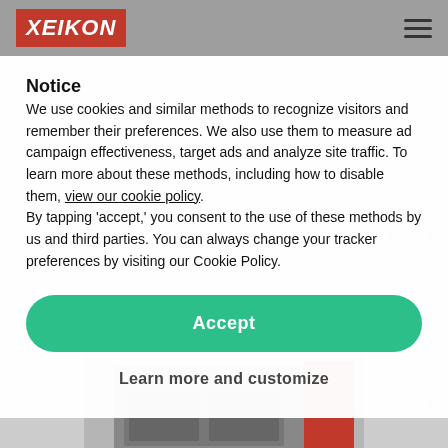XEIKON
Notice
ENGINE
We use cookies and similar methods to recognize visitors and remember their preferences. We also use them to measure ad campaign effectiveness, target ads and analyze site traffic. To learn more about these methods, including how to disable them, view our cookie policy. By tapping 'accept,' you consent to the use of these methods by us and third parties. You can always change your tracker preferences by visiting our Cookie Policy.
Accept
Learn more and customize